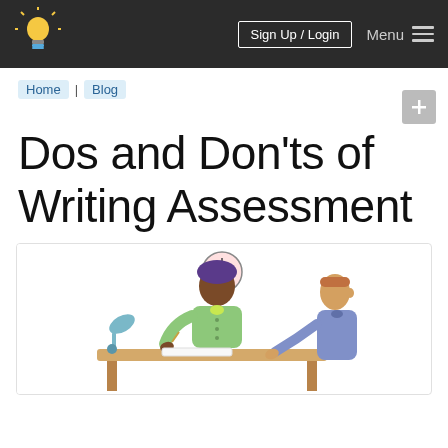Sign Up / Login  Menu
Home | Blog
Dos and Don'ts of Writing Assessment
[Figure (illustration): Cartoon illustration of a teacher sitting at a desk writing, with a student standing beside her. A clock and desk lamp are visible in the background.]